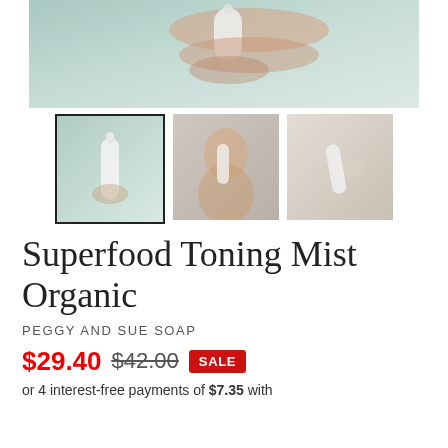[Figure (photo): Main product photo showing a hand holding a white spray bottle against a light mint/sage green background, close-up view from above showing the bottle cap and hand]
[Figure (photo): Thumbnail 1 (selected, with border): Hand holding white spray bottle against mint green background]
[Figure (photo): Thumbnail 2: Woman with eyes closed holding white spray bottle near face, warm neutral background]
[Figure (photo): Thumbnail 3: White spray bottle lying on soft beige fabric]
Superfood Toning Mist Organic
PEGGY AND SUE SOAP
$29.40  $42.00  SALE
or 4 interest-free payments of $7.35 with